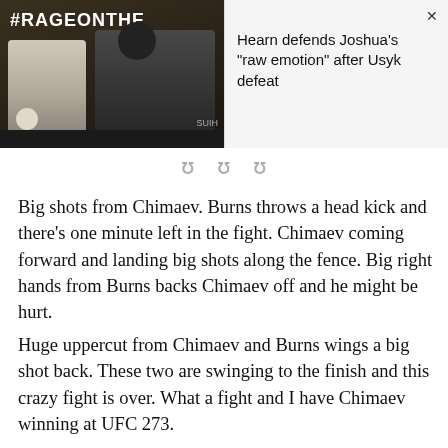[Figure (screenshot): Split view: left side shows press conference photo with two men in front of #RAGEONTHE banner, right side shows a news notification 'Hearn defends Joshua's "raw emotion" after Usyk defeat' with X close button. Below the image are three pagination dots.]
Big shots from Chimaev. Burns throws a head kick and there's one minute left in the fight. Chimaev coming forward and landing big shots along the fence. Big right hands from Burns backs Chimaev off and he might be hurt.
Huge uppercut from Chimaev and Burns wings a big shot back. These two are swinging to the finish and this crazy fight is over. What a fight and I have Chimaev winning at UFC 273.